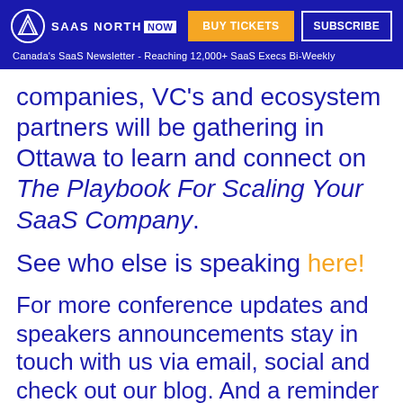SAAS NORTH NOW | BUY TICKETS | SUBSCRIBE | Canada's SaaS Newsletter - Reaching 12,000+ SaaS Execs Bi-Weekly
companies, VC's and ecosystem partners will be gathering in Ottawa to learn and connect on The Playbook For Scaling Your SaaS Company.
See who else is speaking here!
For more conference updates and speakers announcements stay in touch with us via email, social and check out our blog. And a reminder to grab your